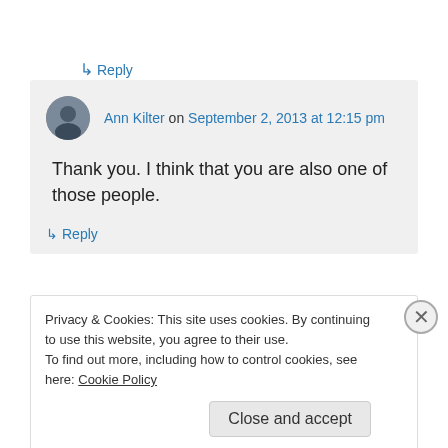↳ Reply
Ann Kilter on September 2, 2013 at 12:15 pm
Thank you. I think that you are also one of those people.
↳ Reply
Works Best
Privacy & Cookies: This site uses cookies. By continuing to use this website, you agree to their use.
To find out more, including how to control cookies, see here: Cookie Policy
Close and accept